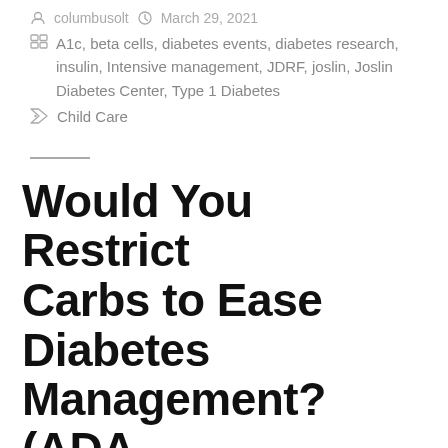columbusolt  March 29, 2021
A1c, beta cells, diabetes events, diabetes research, insulin, Intensive management, JDRF, joslin, Joslin Diabetes Center, Type 1 Diabetes
Child Care
Would You Restrict Carbs to Ease Diabetes Management? (ADA 2020)